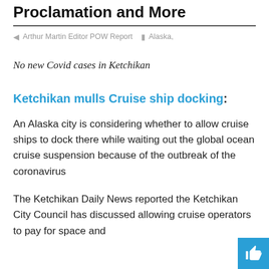Proclamation and More
Arthur Martin Editor POW Report   Alaska,
No new Covid cases in Ketchikan
Ketchikan mulls Cruise ship docking:
An Alaska city is considering whether to allow cruise ships to dock there while waiting out the global ocean cruise suspension because of the outbreak of the coronavirus
The Ketchikan Daily News reported the Ketchikan City Council has discussed allowing cruise operators to pay for space and